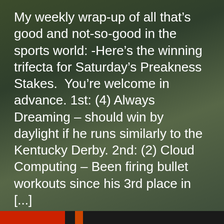[Figure (photo): Dark background photo of a horse racing jockey in racing gear, serving as background for article text]
My weekly wrap-up of all that's good and not-so-good in the sports world: -Here's the winning trifecta for Saturday's Preakness Stakes.  You're welcome in advance. 1st: (4) Always Dreaming – should win by daylight if he runs similarly to the Kentucky Derby. 2nd: (2) Cloud Computing – Been firing bullet workouts since his 3rd place in [...]
Read More
Privacy & Cookies: This site uses cookies. By continuing to use this website, you agree to their use.
To find out more, including how to control cookies, see here:
Cookie Policy
Close and accept